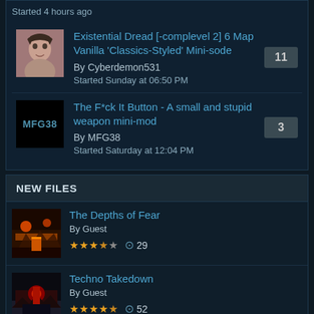Started 4 hours ago
Existential Dread [-complevel 2] 6 Map Vanilla 'Classics-Styled' Mini-sode | By Cyberdemon531 | Started Sunday at 06:50 PM | 11 replies
The F*ck It Button - A small and stupid weapon mini-mod | By MFG38 | Started Saturday at 12:04 PM | 3 replies
NEW FILES
The Depths of Fear | By Guest | Rating: 3.5 stars | Downloads: 29
Techno Takedown | By Guest | Rating: 4 stars | Downloads: 52
The Secret Energy